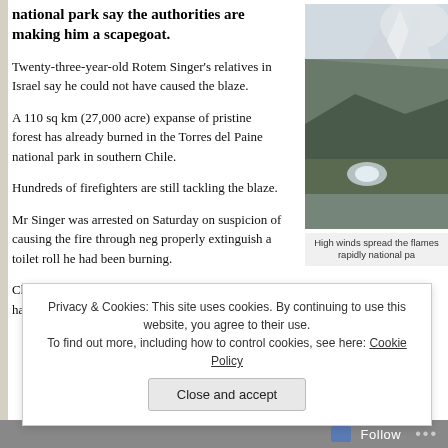national park say the authorities are making him a scapegoat.
Twenty-three-year-old Rotem Singer's relatives in Israel say he could not have caused the blaze.
A 110 sq km (27,000 acre) expanse of pristine forest has already burned in the Torres del Paine national park in southern Chile.
[Figure (photo): Mountain landscape with snow-capped peaks, rocky slopes, and low clouds, Torres del Paine national park]
High winds spread the flames rapidly national pa
Hundreds of firefighters are still tackling the blaze.
Mr Singer was arrested on Saturday on suspicion of causing the fire through neg properly extinguish a toilet roll he had been burning.
Chilean prosecutor Juan Melendez said the Israeli had acknowledged his role in a
Privacy & Cookies: This site uses cookies. By continuing to use this website, you agree to their use.
To find out more, including how to control cookies, see here: Cookie Policy
Close and accept
Follow ...